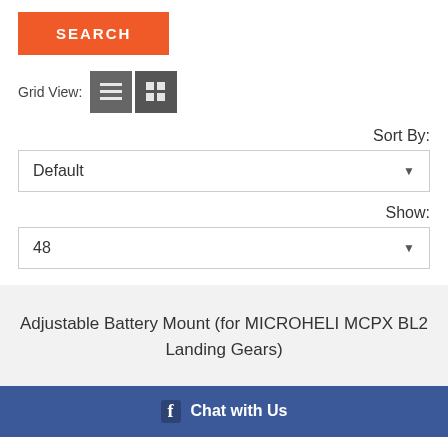[Figure (screenshot): Orange SEARCH button]
Grid View:
[Figure (screenshot): Two grid view toggle buttons (list and grid icons) in dark gray]
Sort By:
[Figure (screenshot): Default dropdown selector]
Show:
[Figure (screenshot): 48 dropdown selector]
Adjustable Battery Mount (for MICROHELI MCPX BL2 Landing Gears)
[Figure (screenshot): Facebook Chat with Us button bar in blue]